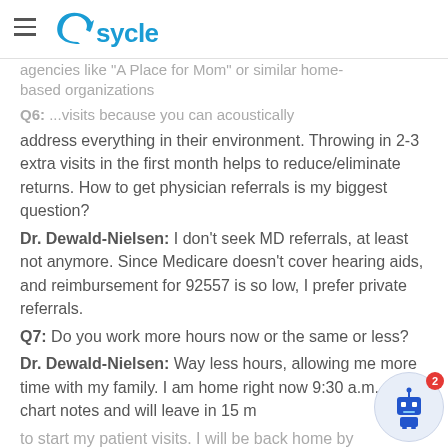Gsycle
agencies like 'A Place for Mom' or similar home-based organizations
Q6: ...visits because you can acoustically address everything in their environment. Throwing in 2-3 extra visits in the first month helps to reduce/eliminate returns. How to get physician referrals is my biggest question?
Dr. Dewald-Nielsen: I don't seek MD referrals, at least not anymore. Since Medicare doesn't cover hearing aids, and reimbursement for 92557 is so low, I prefer private referrals.
Q7: Do you work more hours now or the same or less?
Dr. Dewald-Nielsen: Way less hours, allowing me more time with my family. I am home right now 9:30 a.m. doing chart notes and will leave in 15 m... to start my patient visits. I will be back home by...